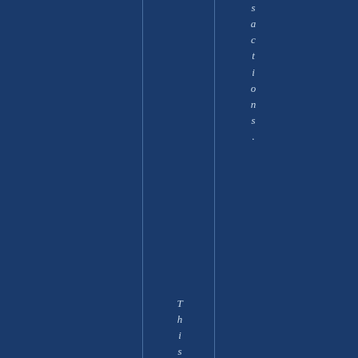sactions.
This raises the old deba